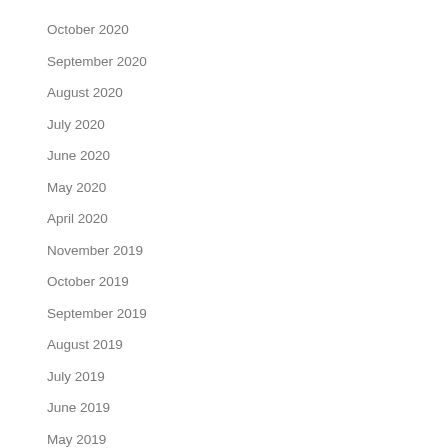October 2020
September 2020
August 2020
July 2020
June 2020
May 2020
April 2020
November 2019
October 2019
September 2019
August 2019
July 2019
June 2019
May 2019
April 2019